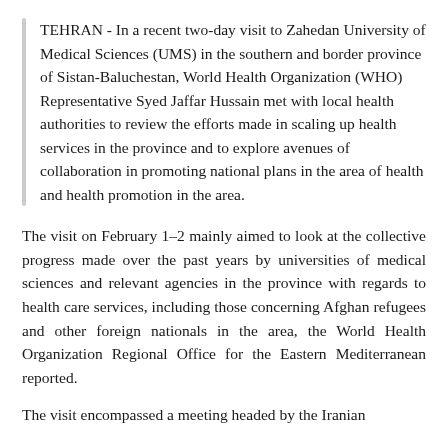TEHRAN - In a recent two-day visit to Zahedan University of Medical Sciences (UMS) in the southern and border province of Sistan-Baluchestan, World Health Organization (WHO) Representative Syed Jaffar Hussain met with local health authorities to review the efforts made in scaling up health services in the province and to explore avenues of collaboration in promoting national plans in the area of health and health promotion in the area.
The visit on February 1–2 mainly aimed to look at the collective progress made over the past years by universities of medical sciences and relevant agencies in the province with regards to health care services, including those concerning Afghan refugees and other foreign nationals in the area, the World Health Organization Regional Office for the Eastern Mediterranean reported.
The visit encompassed a meeting headed by the Iranian